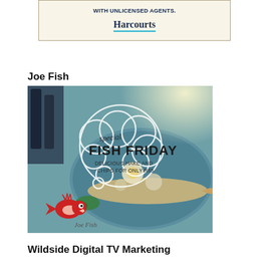[Figure (other): Harcourts real estate warning box with text 'WITH UNLICENSED AGENTS.' and the Harcourts brand name with blue underline, on a cream background with border]
Joe Fish
[Figure (photo): Joe Fish restaurant Fish Friday promotional image showing battered fish on a blue plate with the text 'special FISH FRIDAY DELICIOUS HAKE AND CHIPS FOR ONLY R85' overlaid with a cloud speech bubble, and the Joe Fish red fish logo at the bottom left]
Wildside Digital TV Marketing